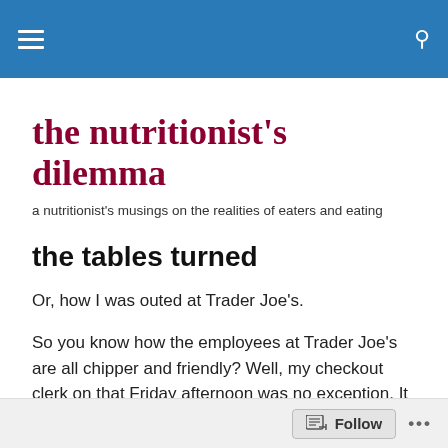the nutritionist's dilemma — site header navigation bar
the nutritionist's dilemma
a nutritionist's musings on the realities of eaters and eating
the tables turned
Or, how I was outed at Trader Joe's.
So you know how the employees at Trader Joe's are all chipper and friendly? Well, my checkout clerk on that Friday afternoon was no exception. It was the end of a long work week, and though I was tired and anxious just to
Follow